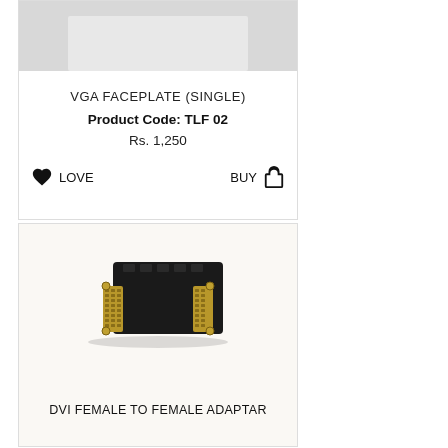[Figure (photo): VGA faceplate product image on grey background]
VGA FACEPLATE (SINGLE)
Product Code: TLF 02
Rs. 1,250
LOVE
BUY
[Figure (photo): DVI female to female adapter, black plastic body with gold-plated connector pins]
DVI FEMALE TO FEMALE ADAPTAR